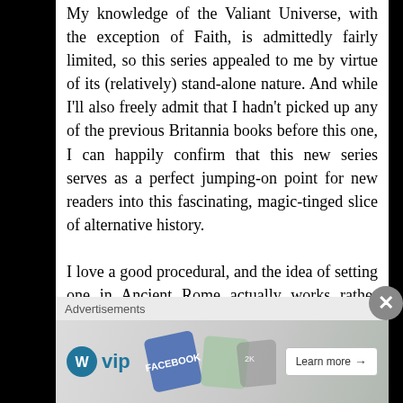My knowledge of the Valiant Universe, with the exception of Faith, is admittedly fairly limited, so this series appealed to me by virtue of its (relatively) stand-alone nature. And while I'll also freely admit that I hadn't picked up any of the previous Britannia books before this one, I can happily confirm that this new series serves as a perfect jumping-on point for new readers into this fascinating, magic-tinged slice of alternative history.

I love a good procedural, and the idea of setting one in Ancient Rome actually works rather well. Axia's restrained, matter-of-fact
[Figure (other): Advertisement banner showing WordPress VIP logo and social media app icons (Facebook, etc.) with a 'Learn more' button]